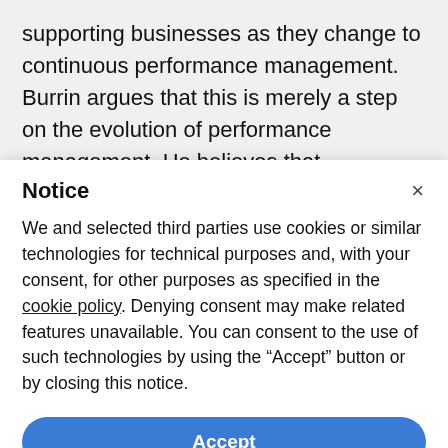supporting businesses as they change to continuous performance management. Burrin argues that this is merely a step on the evolution of performance management. He believes that
Notice
We and selected third parties use cookies or similar technologies for technical purposes and, with your consent, for other purposes as specified in the cookie policy. Denying consent may make related features unavailable. You can consent to the use of such technologies by using the “Accept” button or by closing this notice.
Accept
Learn more and customise